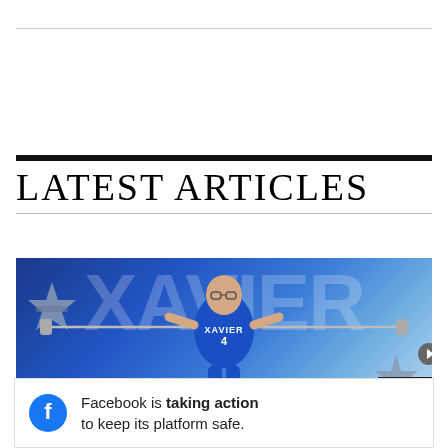LATEST ARTICLES
[Figure (photo): Basketball player in Xavier blue jersey holding a barbell with star-shaped weights, text XAVIER in large letters in the background, blue themed graphic]
Facebook is taking action to keep its platform safe.